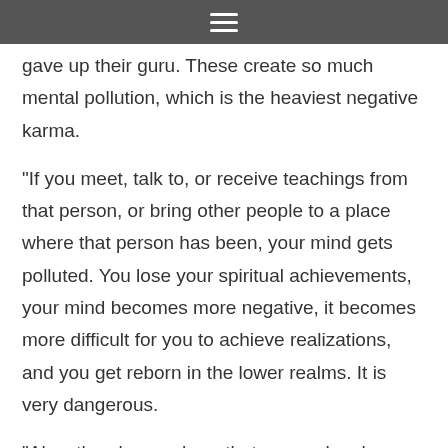≡
gave up their guru. These create so much mental pollution, which is the heaviest negative karma.
"If you meet, talk to, or receive teachings from that person, or bring other people to a place where that person has been, your mind gets polluted. You lose your spiritual achievements, your mind becomes more negative, it becomes more difficult for you to achieve realizations, and you get reborn in the lower realms. It is very dangerous.
"Also, the places where that person has been become polluted. The previous Kyabje Zong Rinpoche told us, during the First Dharma Celebration, that even the tap water in a place where that person has been becomes